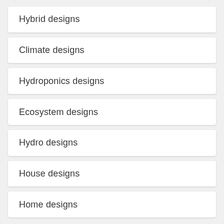Hybrid designs
Climate designs
Hydroponics designs
Ecosystem designs
Hydro designs
House designs
Home designs